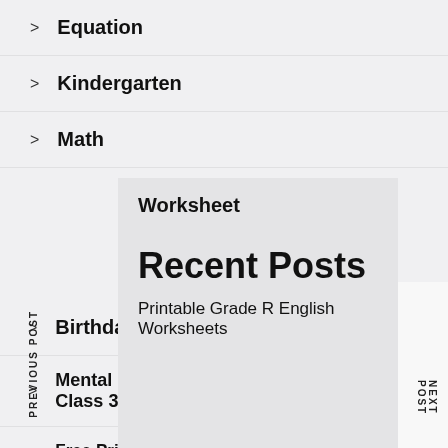> Equation
> Kindergarten
> Math
> Worksheet
Recent Posts
Printable Grade R English Worksheets
> Birthday Coloring Pages Crayola
> Mental Maths Addition Worksheet For Class 3
> Free Printable Coping Skills Worksheets For Kids